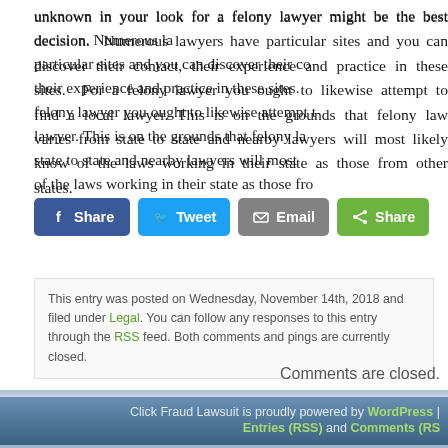unknown in your look for a felony lawyer might be the best decision. Numerous lawyers have particular sites and you can discover their contact, their experience and practice in these sites. For a felony lawyer you ought to likewise attempt to find a local lawyer. This is on the grounds that felony law varies from state to state and nearby lawyers will most likely know of the laws working in their state as those from other.
[Figure (infographic): Social share buttons: Facebook Share, Twitter Tweet, Email, Share]
This entry was posted on Wednesday, November 14th, 2018 and filed under Legal. You can follow any responses to this entry through the RSS feed. Both comments and pings are currently closed.
Comments are closed.
Click Fraud Lawsuit is proudly powered by WordPress | Entries (RSS) and Comments (RSS)